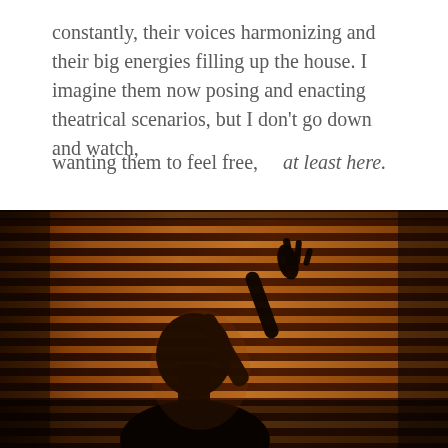constantly, their voices harmonizing and their big energies filling up the house. I imagine them now posing and enacting theatrical scenarios, but I don't go down and watch,

wanting them to feel free,    at least here.
[Figure (photo): A dark, moody photograph of a silhouetted figure (appearing to be a person or hand) against venetian blinds with warm amber/orange light filtering through the slats, creating horizontal stripe patterns of light and shadow.]